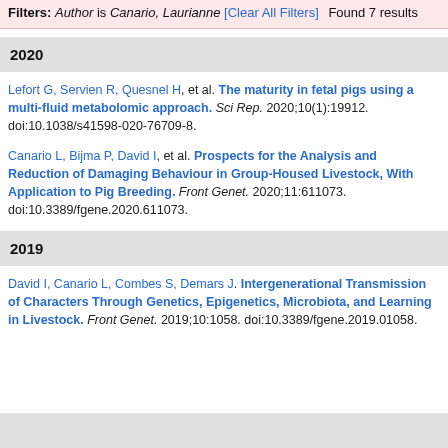Filters: Author is Canario, Laurianne [Clear All Filters] Found 7 results
2020
Lefort G, Servien R, Quesnel H, et al. The maturity in fetal pigs using a multi-fluid metabolomic approach. Sci Rep. 2020;10(1):19912. doi:10.1038/s41598-020-76709-8.
Canario L, Bijma P, David I, et al. Prospects for the Analysis and Reduction of Damaging Behaviour in Group-Housed Livestock, With Application to Pig Breeding. Front Genet. 2020;11:611073. doi:10.3389/fgene.2020.611073.
2019
David I, Canario L, Combes S, Demars J. Intergenerational Transmission of Characters Through Genetics, Epigenetics, Microbiota, and Learning in Livestock. Front Genet. 2019;10:1058. doi:10.3389/fgene.2019.01058.